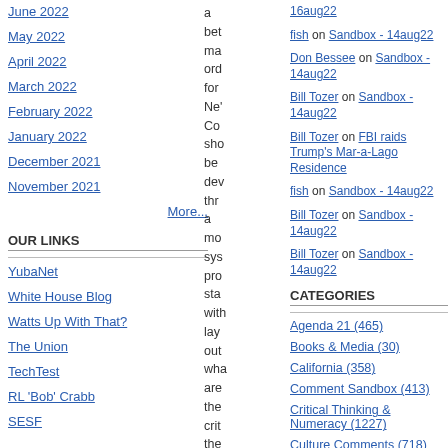June 2022
May 2022
April 2022
March 2022
February 2022
January 2022
December 2021
November 2021
More...
OUR LINKS
YubaNet
White House Blog
Watts Up With That?
The Union
TechTest
RL 'Bob' Crabb
SESF
a bet ma ord for Ne' Co sho be dev thr a mo sys pro sta with lay out wha are the crit the
16aug22
fish on Sandbox - 14aug22
Don Bessee on Sandbox - 14aug22
Bill Tozer on Sandbox - 14aug22
Bill Tozer on FBI raids Trump's Mar-a-Lago Residence
fish on Sandbox - 14aug22
Bill Tozer on Sandbox - 14aug22
Bill Tozer on Sandbox - 14aug22
CATEGORIES
Agenda 21 (465)
Books & Media (30)
California (358)
Comment Sandbox (413)
Critical Thinking & Numeracy (1227)
Culture Comments (718)
Current Affairs (1741)
Film (7)